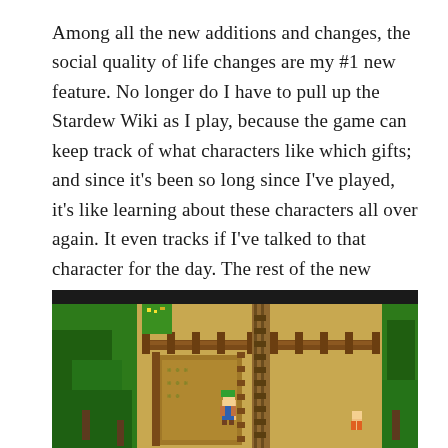Among all the new additions and changes, the social quality of life changes are my #1 new feature. No longer do I have to pull up the Stardew Wiki as I play, because the game can keep track of what characters like which gifts; and since it's been so long since I've played, it's like learning about these characters all over again. It even tracks if I've talked to that character for the day. The rest of the new content is sprinkled out enough that almost every day I've found some small new discovery.
[Figure (screenshot): A screenshot from Stardew Valley showing a top-down pixel art view of farmland with green trees, dirt paths, wooden fences, a player character, and sandy terrain.]